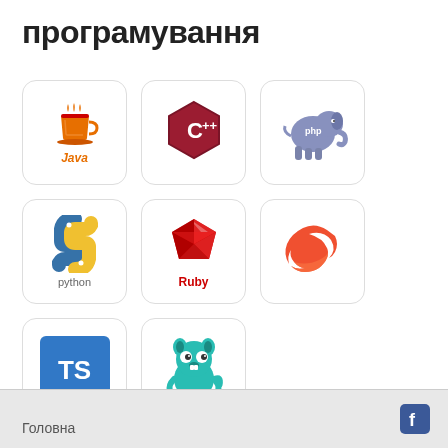програмування
[Figure (logo): Java logo - coffee cup with steam, red and orange colors, 'Java' label]
[Figure (logo): C++ logo - dark red hexagon with white C++ text]
[Figure (logo): PHP logo - blue elephant mascot with 'php' text]
[Figure (logo): Python logo - blue and yellow snake icon with 'python' text]
[Figure (logo): Ruby logo - red diamond gem with 'Ruby' text]
[Figure (logo): Swift logo - orange/red swoosh bird on white background]
[Figure (logo): TypeScript logo - blue square with 'TS' in white]
[Figure (logo): Go (Golang) logo - teal gopher mascot character]
Головна